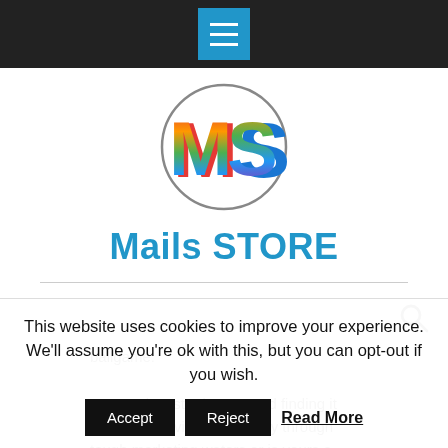[Figure (logo): Dark top navigation bar with blue hamburger menu button (three white lines)]
[Figure (logo): Circular logo with colorful rainbow-colored 'MS' letters inside a circle outline]
Mails STORE
ballgame.
Are you just starting out and finding it difficult to navigate your way through tough marketing waters or is yours a situation of failing home-grown mailing lists?
This website uses cookies to improve your experience. We'll assume you're ok with this, but you can opt-out if you wish.
Accept  Reject  Read More